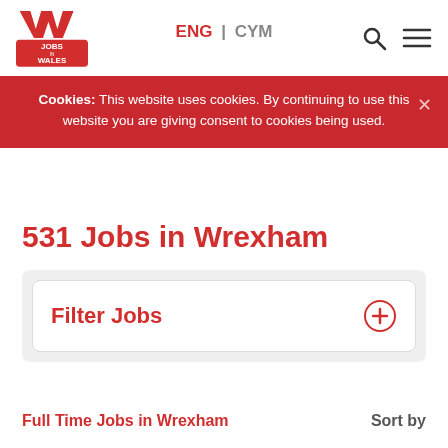[Figure (logo): Jobs in Wales logo - red W shape with JOBS IN WALES text below in red]
ENG | CYM
Cookies: This website uses cookies. By continuing to use this website you are giving consent to cookies being used.
531 Jobs in Wrexham
Filter Jobs
Full Time Jobs in Wrexham
Sort by